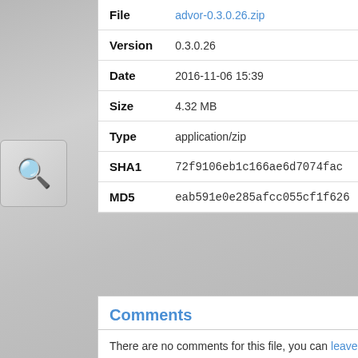| Field | Value |
| --- | --- |
| File | advor-0.3.0.26.zip |
| Version | 0.3.0.26 |
| Date | 2016-11-06 15:39 |
| Size | 4.32 MB |
| Type | application/zip |
| SHA1 | 72f9106eb1c166ae6d7074fac... |
| MD5 | eab591e0e285afcc055cf1f626... |
Comments
There are no comments for this file, you can leave on
Advertisement
3.239.165.51.US